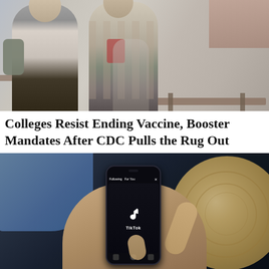[Figure (photo): Two people standing outdoors near wooden benches/tables, one in a grey hoodie and one in a plaid shirt]
Colleges Resist Ending Vaccine, Booster Mandates After CDC Pulls the Rug Out
[Figure (photo): Person holding a smartphone displaying the TikTok app logo, with a wooden circle/stump and denim sleeve visible in background]
Researcher Claims TikTok Able to Track Users' Keystrokes